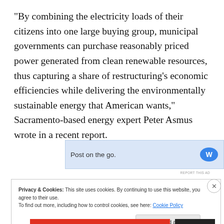“By combining the electricity loads of their citizens into one large buying group, municipal governments can purchase reasonably priced power generated from clean renewable resources, thus capturing a share of restructuring’s economic efficiencies while delivering the environmentally sustainable energy that American wants,” Sacramento-based energy expert Peter Asmus wrote in a recent report.
[Figure (other): Advertisement banner with text 'Post on the go.' and a logo icon on a light blue background]
REPORT THIS AD
Privacy & Cookies: This site uses cookies. By continuing to use this website, you agree to their use.
To find out more, including how to control cookies, see here: Cookie Policy
Close and accept